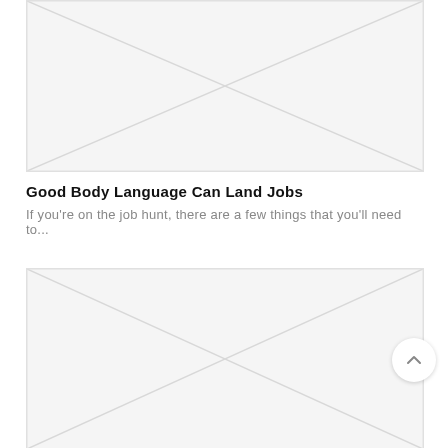[Figure (illustration): Placeholder image with an X through it indicating no image loaded — light grey background with diagonal lines forming an X, top portion of article card]
Good Body Language Can Land Jobs
If you're on the job hunt, there are a few things that you'll need to...
[Figure (illustration): Second placeholder image with an X through it indicating no image loaded — light grey background with diagonal lines forming an X, bottom portion visible]